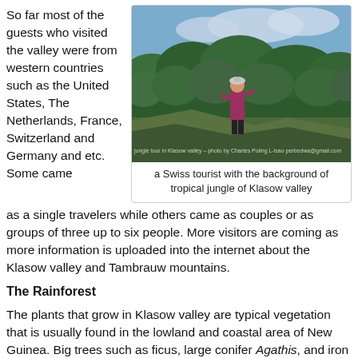So far most of the guests who visited the valley were from western countries such as the United States, The Netherlands, France, Switzerland and Germany and etc. Some came as a single travelers while others came as couples or as groups of three up to six people. More visitors are coming as more information is uploaded into the internet about the Klasow valley and Tambrauw mountains.
[Figure (photo): A Swiss tourist standing on a hillside with tropical jungle of Klasow valley in the background, mountains visible in the distance under cloudy sky]
a Swiss tourist with the background of tropical jungle of Klasow valley
The Rainforest
The plants that grow in Klasow valley are typical vegetation that is usually found in the lowland and coastal area of New Guinea. Big trees such as ficus, large conifer Agathis, and iron wood, and various species of palms live side by side